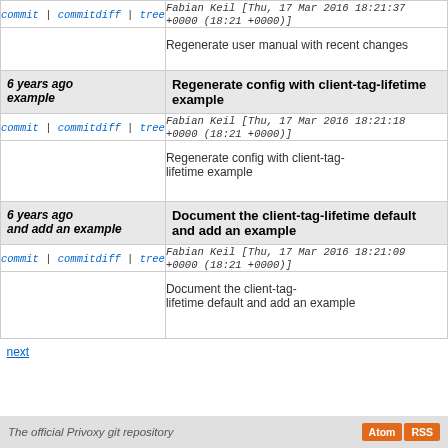| commit | commitdiff | tree | Fabian Keil [Thu, 17 Mar 2016 18:21:37 +0000 (18:21 +0000)] |
|  | Regenerate user manual with recent changes |
| 6 years ago example | Regenerate config with client-tag-lifetime example |
| commit | commitdiff | tree | Fabian Keil [Thu, 17 Mar 2016 18:21:18 +0000 (18:21 +0000)] |
|  | Regenerate config with client-tag-lifetime example |
| 6 years ago and add an example | Document the client-tag-lifetime default and add an example |
| commit | commitdiff | tree | Fabian Keil [Thu, 17 Mar 2016 18:21:09 +0000 (18:21 +0000)] |
|  | Document the client-tag-lifetime default and add an example |
next
The official Privoxy git repository